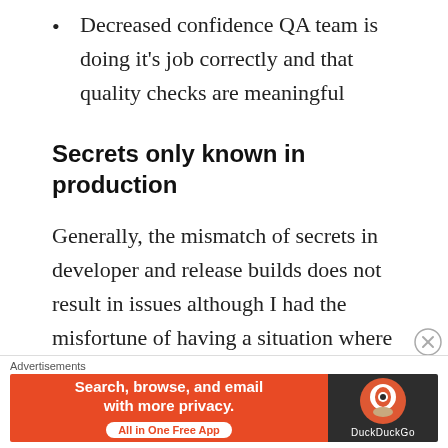Decreased confidence QA team is doing it's job correctly and that quality checks are meaningful
Secrets only known in production
Generally, the mismatch of secrets in developer and release builds does not result in issues although I had the misfortune of having a situation where it impacted me: In development, it is normal for security systems to be disabled. Unfortunately in production, the addition of an actual key to some bootloader security internals led to a buffer overflow that was very luckily detected on time. My changes were in a completely unrelated part
Advertisements
[Figure (other): DuckDuckGo advertisement banner: orange left side with text 'Search, browse, and email with more privacy. All in One Free App', dark right side with DuckDuckGo logo and name]